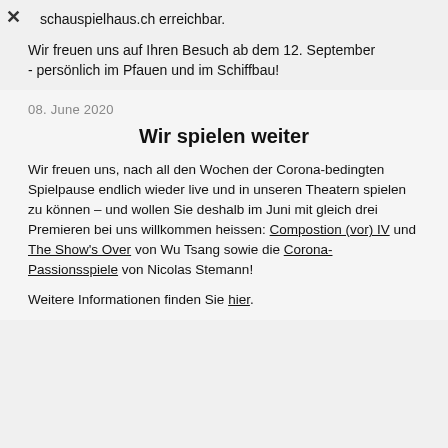schauspielhaus.ch erreichbar.
Wir freuen uns auf Ihren Besuch ab dem 12. September - persönlich im Pfauen und im Schiffbau!
08. June 2020
Wir spielen weiter
Wir freuen uns, nach all den Wochen der Corona-bedingten Spielpause endlich wieder live und in unseren Theatern spielen zu können – und wollen Sie deshalb im Juni mit gleich drei Premieren bei uns willkommen heissen: Compostion (vor) IV und The Show's Over von Wu Tsang sowie die Corona-Passionsspiele von Nicolas Stemann!
Weitere Informationen finden Sie hier.